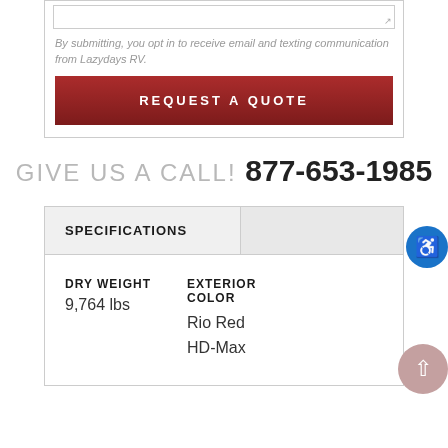By submitting, you opt in to receive email and texting communication from Lazydays RV.
REQUEST A QUOTE
GIVE US A CALL! 877-653-1985
| SPECIFICATIONS |  |
| --- | --- |
DRY WEIGHT
9,764 lbs
EXTERIOR COLOR
Rio Red HD-Max